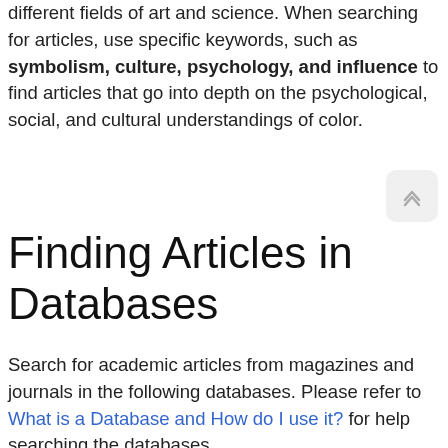different fields of art and science. When searching for articles, use specific keywords, such as symbolism, culture, psychology, and influence to find articles that go into depth on the psychological, social, and cultural understandings of color.
Finding Articles in Databases
Search for academic articles from magazines and journals in the following databases. Please refer to What is a Database and How do I use it? for help searching the databases.

The following databases include scholarly sources (as well as other